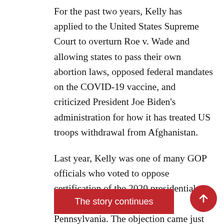For the past two years, Kelly has applied to the United States Supreme Court to overturn Roe v. Wade and allowing states to pass their own abortion laws, opposed federal mandates on the COVID-19 vaccine, and criticized President Joe Biden's administration for how it has treated US troops withdrawal from Afghanistan.
Last year, Kelly was one of many GOP officials who voted to oppose certification of the 2020 presidential election results in Arizona and Pennsylvania. The objection came just days after supporters of former President Donald Trump stormed the Capitol in a violent crowd over false allegations that the election was rigged and stolen
The story continues